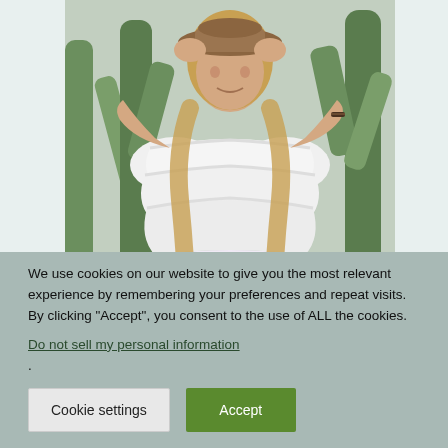[Figure (photo): Woman wearing a brown wide-brim hat and white ruffled lace off-shoulder dress, standing in front of green cacti. Logo stamp circle visible top-left. Cursive brand text visible bottom-right.]
We use cookies on our website to give you the most relevant experience by remembering your preferences and repeat visits. By clicking “Accept”, you consent to the use of ALL the cookies. Do not sell my personal information.
Cookie settings
Accept